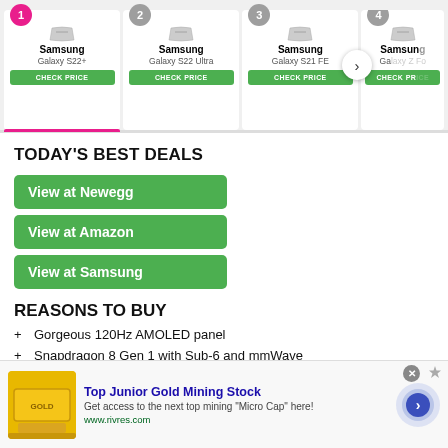[Figure (screenshot): Product comparison bar with 4 Samsung phones: Galaxy S22+, Galaxy S22 Ultra, Galaxy S21 FE, Galaxy Z Fo(ld). Each has a numbered badge and a green CHECK PRICE button. Item 1 (Samsung Galaxy S22+) is active with pink underline.]
TODAY'S BEST DEALS
View at Newegg
View at Amazon
View at Samsung
REASONS TO BUY
+ Gorgeous 120Hz AMOLED panel
+ Snapdragon 8 Gen 1 with Sub-6 and mmWave
+ Reliable cameras
[Figure (screenshot): Advertisement bar at bottom: gold bar image, 'Top Junior Gold Mining Stock', 'Get access to the next top mining "Micro Cap" here!', www.rivres.com, blue arrow circle button.]